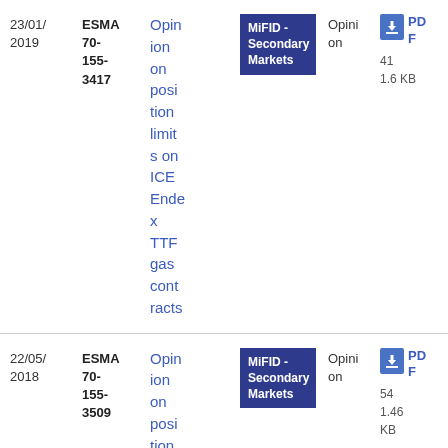| Date | Reference | Title | Category | Type | File |
| --- | --- | --- | --- | --- | --- |
| 23/01/2019 | ESMA 70-155-3417 | Opinion on position limits on ICE Endex TTF gas contracts | MiFID - Secondary Markets | Opinion | PDF
41
1.6 KB |
| 22/05/2018 | ESMA 70-155-3509 | Opinion on position limit... | MiFID - Secondary Markets | Opinion | PDF
54
1.46 KB |